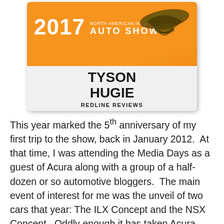[Figure (photo): An orange press badge for the 2017 North American International Auto Show, with name TYSON HUGIE and organization REDLINE REVIEWS printed on a white name strip. The badge features a stylized eagle/snake logo.]
This year marked the 5th anniversary of my first trip to the show, back in January 2012. At that time, I was attending the Media Days as a guest of Acura along with a group of a half-dozen or so automotive bloggers. The main event of interest for me was the unveil of two cars that year: The ILX Concept and the NSX Concept. Oddly enough it has taken Acura almost these entire last 5 years to fully bring the NSX to market (it sold between 60 and 70 units in December 2016) but the ILX is already in its 5th model